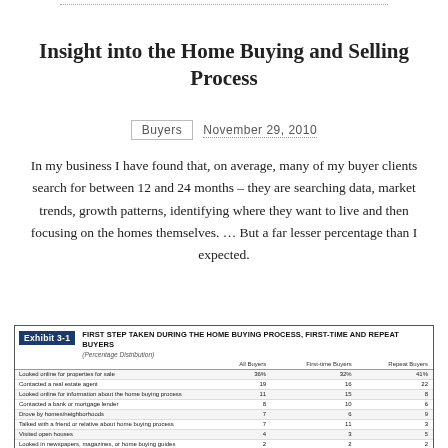Insight into the Home Buying and Selling Process
Buyers   November 29, 2010
In my business I have found that, on average, many of my buyer clients search for between 12 and 24 months – they are searching data, market trends, growth patterns, identifying where they want to live and then focusing on the homes themselves. … But a far lesser percentage than I expected.
|  | All Buyers | First-time Buyers | Repeat Buyers |
| --- | --- | --- | --- |
| Looked online for properties for sale | 36% | 32% | 41% |
| Contacted a real estate agent | 19 | 16 | 22 |
| Looked online for information about the home buying process | 11 | 15 | 8 |
| Contacted a bank or mortgage lender | 8 | 10 | 6 |
| Drove by homes/neighborhoods | 7 | 6 | 9 |
| Talked with a friend or relative about home buying process | 7 | 11 | 3 |
| Visited open houses | 4 | 3 | 5 |
| Looked in newspapers, magazines, or home buying guides | 2 | 2 | 2 |
| Attended a home buying seminar | 2 | 3 | 1 |